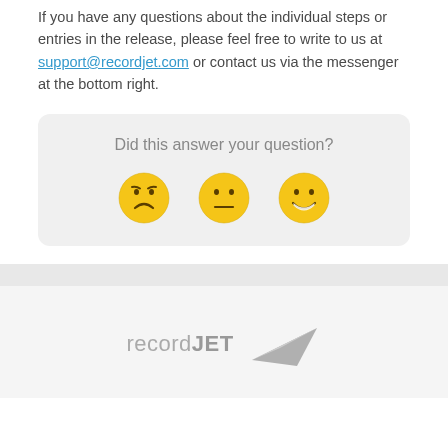If you have any questions about the individual steps or entries in the release, please feel free to write to us at support@recordjet.com or contact us via the messenger at the bottom right.
[Figure (infographic): Feedback widget box with text 'Did this answer your question?' and three emoji faces: sad, neutral, happy]
[Figure (logo): recordJET logo with stylized paper airplane arrow graphic in gray]